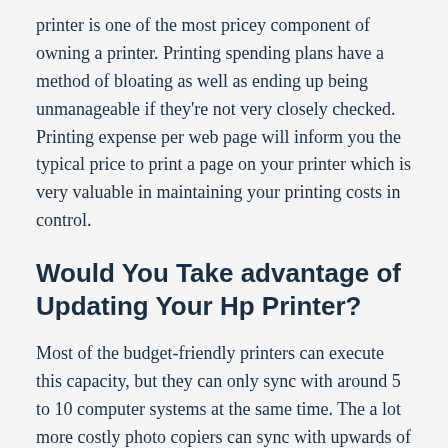printer is one of the most pricey component of owning a printer. Printing spending plans have a method of bloating as well as ending up being unmanageable if they're not very closely checked. Printing expense per web page will inform you the typical price to print a page on your printer which is very valuable in maintaining your printing costs in control.
Would You Take advantage of Updating Your Hp Printer?
Most of the budget-friendly printers can execute this capacity, but they can only sync with around 5 to 10 computer systems at the same time. The a lot more costly photo copiers can sync with upwards of 20 or perhaps 30 computer systems. This is a handy attribute that permits workers to use the printer